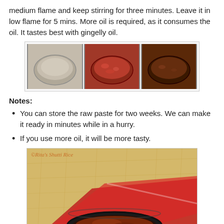medium flame and keep stirring for three minutes. Leave it in low flame for 5 mins. More oil is required, as it consumes the oil. It tastes best with gingelly oil.
[Figure (photo): Three-panel cooking process photos showing a pan with oil, then tomato mixture being cooked, then the darkened final chutney in a pan.]
Notes:
You can store the raw paste for two weeks. We can make it ready in minutes while in a hurry.
If you use more oil, it will be more tasty.
[Figure (photo): A bowl of dark red-brown tomato chutney in a black metal bowl placed on a red surface, with a beige textured background. Watermark: ©Rita's Shutti Rice]